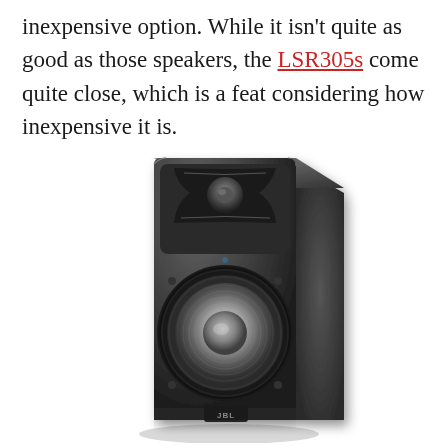inexpensive option. While it isn't quite as good as those speakers, the LSR305s come quite close, which is a feat considering how inexpensive it is.
[Figure (photo): A JBL LSR305 studio monitor speaker shown in a three-quarter angle view. The speaker is dark grey/black with a distinctive waveguide tweeter at the top and a large woofer cone in the center. The JBL logo is visible at the bottom front of the speaker.]